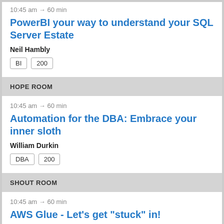10:45 am → 60 min
PowerBI your way to understand your SQL Server Estate
Neil Hambly
BI  200
HOPE ROOM
10:45 am → 60 min
Automation for the DBA: Embrace your inner sloth
William Durkin
DBA  200
SHOUT ROOM
10:45 am → 60 min
AWS Glue - Let's get "stuck" in!
Chris Taylor
DWH  100